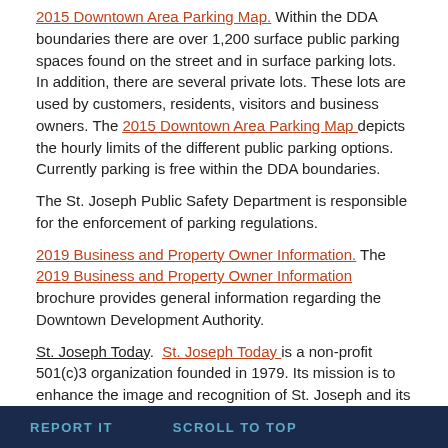2015 Downtown Area Parking Map. Within the DDA boundaries there are over 1,200 surface public parking spaces found on the street and in surface parking lots. In addition, there are several private lots. These lots are used by customers, residents, visitors and business owners. The 2015 Downtown Area Parking Map depicts the hourly limits of the different public parking options. Currently parking is free within the DDA boundaries.
The St. Joseph Public Safety Department is responsible for the enforcement of parking regulations.
2019 Business and Property Owner Information. The 2019 Business and Property Owner Information brochure provides general information regarding the Downtown Development Authority.
St. Joseph Today. St. Joseph Today is a non-profit 501(c)3 organization founded in 1979. Its mission is to enhance the image and recognition of St. Joseph and its surrounding communities, promote business and tourism development
REPORT IT   SCROLL TO TOP